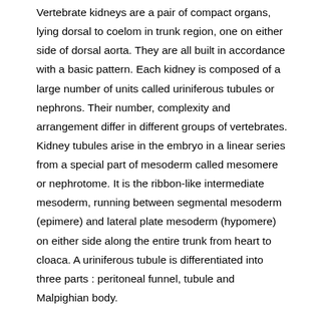Vertebrate kidneys are a pair of compact organs, lying dorsal to coelom in trunk region, one on either side of dorsal aorta. They are all built in accordance with a basic pattern. Each kidney is composed of a large number of units called uriniferous tubules or nephrons. Their number, complexity and arrangement differ in different groups of vertebrates. Kidney tubules arise in the embryo in a linear series from a special part of mesoderm called mesomere or nephrotome. It is the ribbon-like intermediate mesoderm, running between segmental mesoderm (epimere) and lateral plate mesoderm (hypomere) on either side along the entire trunk from heart to cloaca. A uriniferous tubule is differentiated into three parts : peritoneal funnel, tubule and Malpighian body.
Peritoneal funnel :- Near the free end of a